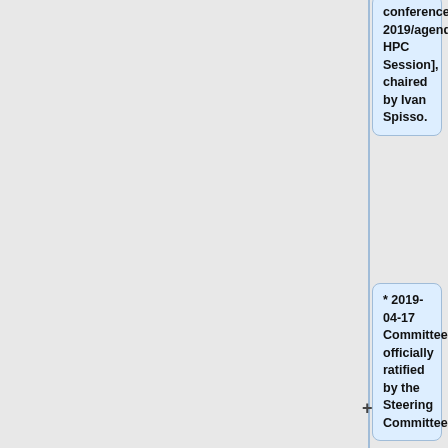conference-2019/agenda HPC Session], chaired by Ivan Spisso.
* 2019-04-17 Committee officially ratified by the Steering Committee.
* Several members present relevant work at the 7th OpenFOAM Conference in Berlin, session. Dedicate Session to HPC,
==Repository==